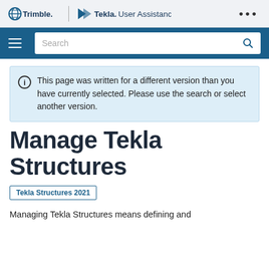Trimble | Tekla User Assistance
Search
This page was written for a different version than you have currently selected. Please use the search or select another version.
Manage Tekla Structures
Tekla Structures 2021
Managing Tekla Structures means defining and